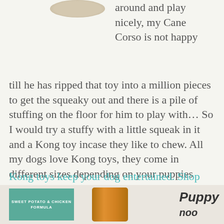[Figure (photo): Partial view of a round tan/beige object (dog toy or treat) at the top left]
around and play nicely, my Cane Corso is not happy till he has ripped that toy into a million pieces to get the squeaky out and there is a pile of stuffing on the floor for him to play with… So I would try a stuffy with a little squeak in it and a Kong toy incase they like to chew. All my dogs love Kong toys, they come in different sizes depending on your puppies breed and weight. Once they get a bit older you can get into different types of chews as they start teething.
Kong toys keep your dog entertained. Shop now at Cherrybrook.com.
[Figure (photo): Product image of Sweet Potato & Chicken Formula dog food in a teal/green bag, and a Kong toy product in tan/orange, with text 'Puppy' partially visible on the right]